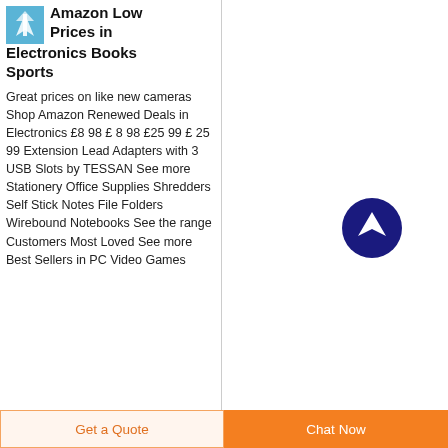[Figure (logo): Amazon or e-commerce logo thumbnail, light blue square with a white lightning bolt icon]
Amazon Low Prices in Electronics Books Sports
Great prices on like new cameras Shop Amazon Renewed Deals in Electronics £8 98 £ 8 98 £25 99 £ 25 99 Extension Lead Adapters with 3 USB Slots by TESSAN See more Stationery Office Supplies Shredders Self Stick Notes File Folders Wirebound Notebooks See the range Customers Most Loved See more Best Sellers in PC Video Games
[Figure (illustration): Dark blue circular scroll-to-top button with white upward arrow icon]
Get a Quote
Chat Now